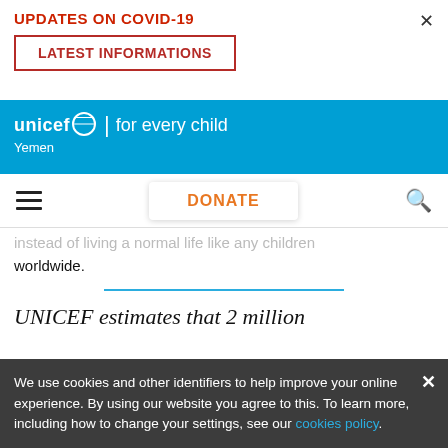UPDATES ON COVID-19
LATEST INFORMATIONS
[Figure (screenshot): UNICEF for every child - Yemen website header bar with blue background and white text]
[Figure (screenshot): Navigation bar with hamburger menu, DONATE button in orange, and search icon]
instead of living a normal life like any children worldwide.
UNICEF estimates that 2 million
We use cookies and other identifiers to help improve your online experience. By using our website you agree to this. To learn more, including how to change your settings, see our cookies policy.